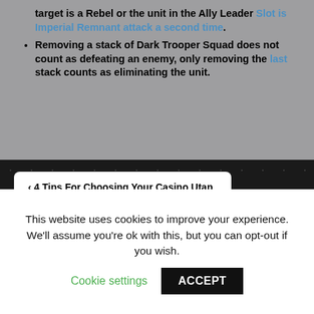target is a Rebel or the unit in the Ally Leader Slot is Imperial Remnant attack a second time.
Removing a stack of Dark Trooper Squad does not count as defeating an enemy, only removing the last stack counts as eliminating the unit.
< 4 Tips For Choosing Your Casino Utan Spelpaus
50 Star Wars Video Games Ranked from Worst to Best >
Best Live Casinos Online reviews about best online Live
This website uses cookies to improve your experience. We'll assume you're ok with this, but you can opt-out if you wish.
Cookie settings   ACCEPT